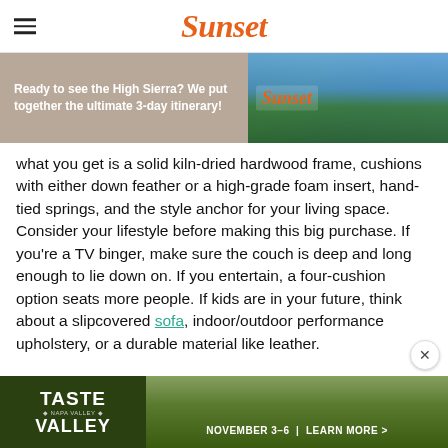Sunset
[Figure (screenshot): Advertisement banner for Sunset magazine High Sierra 3-day itinerary with mountain lake background]
what you get is a solid kiln-dried hardwood frame, cushions with either down feather or a high-grade foam insert, hand-tied springs, and the style anchor for your living space. Consider your lifestyle before making this big purchase. If you're a TV binger, make sure the couch is deep and long enough to lie down on. If you entertain, a four-cushion option seats more people. If kids are in your future, think about a slipcovered sofa, indoor/outdoor performance upholstery, or a durable material like leather.
[Figure (screenshot): Advertisement banner for Taste of the Valley event, November 3-6, with California hills landscape background]